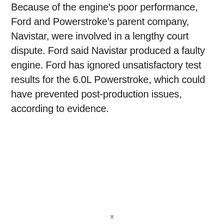Because of the engine's poor performance, Ford and Powerstroke's parent company, Navistar, were involved in a lengthy court dispute. Ford said Navistar produced a faulty engine. Ford has ignored unsatisfactory test results for the 6.0L Powerstroke, which could have prevented post-production issues, according to evidence.
x